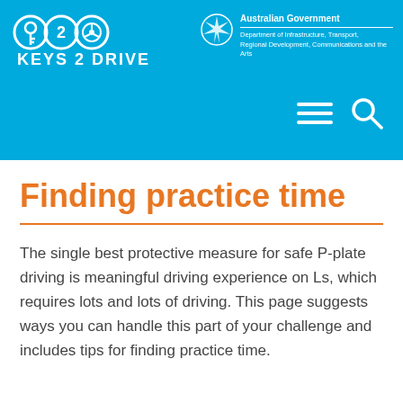[Figure (logo): Keys 2 Drive logo with key, number 2, and steering wheel icons, and Australian Government Department of Infrastructure, Transport, Regional Development, Communications and the Arts logo]
[Figure (illustration): Hamburger menu icon and search (magnifying glass) icon in white on blue header]
Finding practice time
The single best protective measure for safe P-plate driving is meaningful driving experience on Ls, which requires lots and lots of driving. This page suggests ways you can handle this part of your challenge and includes tips for finding practice time.